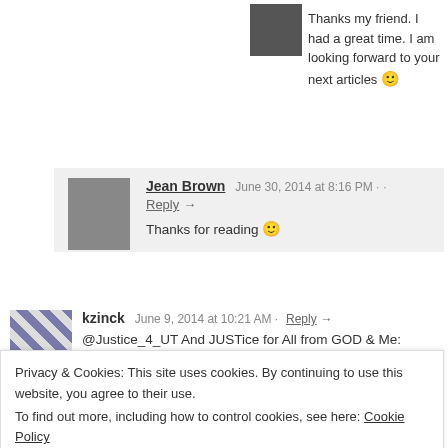Thanks my friend. I had a great time. I am looking forward to your next articles 🙂
Jean Brown  June 30, 2014 at 8:16 PM · Reply →
Thanks for reading 🙂
kzinck  June 9, 2014 at 10:21 AM · Reply →
@Justice_4_UT And JUSTice for All from GOD & Me:
http://wp.me/PwN3H-78 see home page too...
surgeryattiffanys  June 9, 2014 at 4:56 AM · Reply →
Privacy & Cookies: This site uses cookies. By continuing to use this website, you agree to their use.
To find out more, including how to control cookies, see here: Cookie Policy
Close and accept